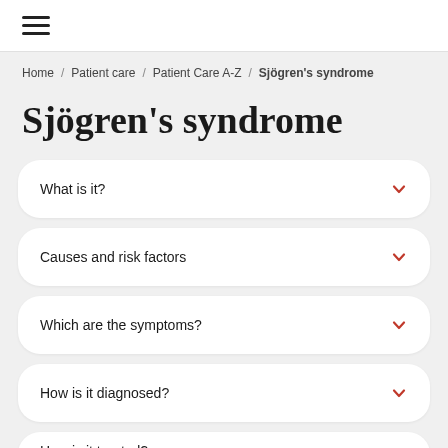☰
Home / Patient care / Patient Care A-Z / Sjögren's syndrome
Sjögren's syndrome
What is it?
Causes and risk factors
Which are the symptoms?
How is it diagnosed?
How is it treated?